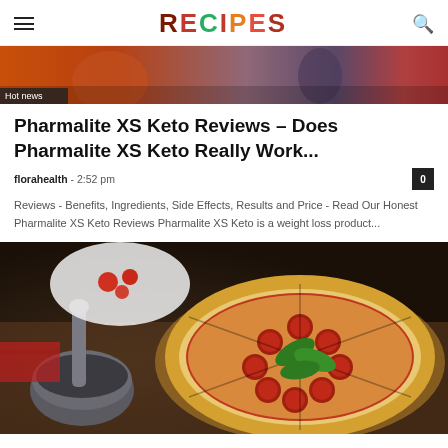RECIPES
[Figure (photo): Hot news banner image showing people, partially visible]
Pharmalite XS Keto Reviews – Does Pharmalite XS Keto Really Work...
florahealth - 2:52 pm
Reviews - Benefits, Ingredients, Side Effects, Results and Price - Read Our Honest Pharmalite XS Keto Reviews Pharmalite XS Keto is a weight loss product...
[Figure (photo): Food photo showing a pepperoni pizza with basil leaves and a mortar and pestle, tomatoes on a plate in background]